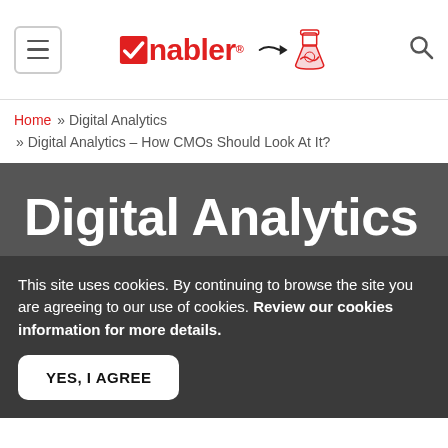nabler (logo with brain icon)
Home » Digital Analytics » Digital Analytics – How CMOs Should Look At It?
Digital Analytics – How CMOs Should
This site uses cookies. By continuing to browse the site you are agreeing to our use of cookies. Review our cookies information for more details.
YES, I AGREE